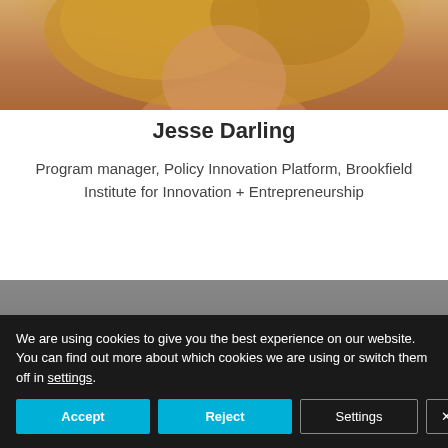[Figure (photo): Top portion of a woman with blonde hair, partially cropped, on a light background]
Jesse Darling
Program manager, Policy Innovation Platform, Brookfield Institute for Innovation + Entrepreneurship
[Figure (photo): Top of a man's head with dark hair against a grey background, with an orange triangle decorative element in the upper right corner]
We are using cookies to give you the best experience on our website.
You can find out more about which cookies we are using or switch them off in settings.
Accept  Reject  Settings  ×